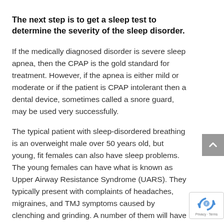The next step is to get a sleep test to determine the severity of the sleep disorder.
If the medically diagnosed disorder is severe sleep apnea, then the CPAP is the gold standard for treatment. However, if the apnea is either mild or moderate or if the patient is CPAP intolerant then a dental device, sometimes called a snore guard, may be used very successfully.
The typical patient with sleep-disordered breathing is an overweight male over 50 years old, but young, fit females can also have sleep problems. The young females can have what is known as Upper Airway Resistance Syndrome (UARS). They typically present with complaints of headaches, migraines, and TMJ symptoms caused by clenching and grinding. A number of them will have fibromyalgia caused by heightened levels of inflammation.